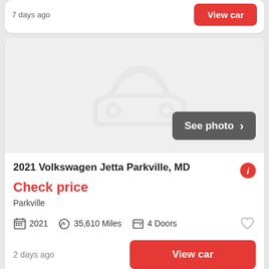7 days ago
[Figure (screenshot): Car listing placeholder image with car silhouette icon and 'See photo' button]
2021 Volkswagen Jetta Parkville, MD
Check price
Parkville
2021   35,610 Miles   4 Doors
2 days ago
View car